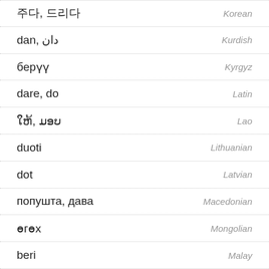주다, 드리다 — Korean
dan, دان — Kurdish
берүү — Kyrgyz
dare, do — Latin
ໃຫ້, ມອບ — Lao
duoti — Lithuanian
dot — Latvian
попушта, дава — Macedonian
өгөх — Mongolian
beri — Malay